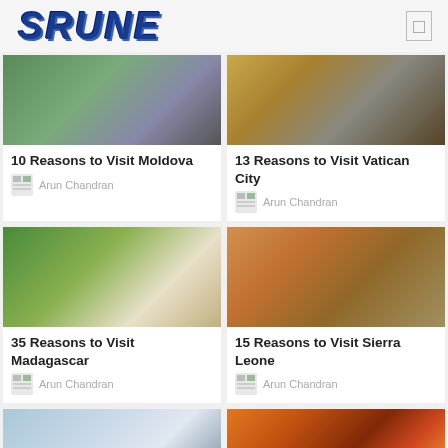SRUNE
10 Reasons to Visit Moldova
Arun Chandran
13 Reasons to Visit Vatican City
Arun Chandran
35 Reasons to Visit Madagascar
Arun Chandran
15 Reasons to Visit Sierra Leone
Arun Chandran
[Figure (photo): Landscape photo for space/astronaut article]
[Figure (photo): Cityscape at sunset]